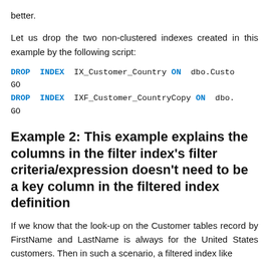better.
Let us drop the two non-clustered indexes created in this example by the following script:
DROP INDEX IX_Customer_Country ON dbo.Custo
GO
DROP INDEX IXF_Customer_CountryCopy ON dbo.
GO
Example 2: This example explains the columns in the filter index’s filter criteria/expression doesn’t need to be a key column in the filtered index definition
If we know that the look-up on the Customer tables record by FirstName and LastName is always for the United States customers. Then in such a scenario, a filtered index like